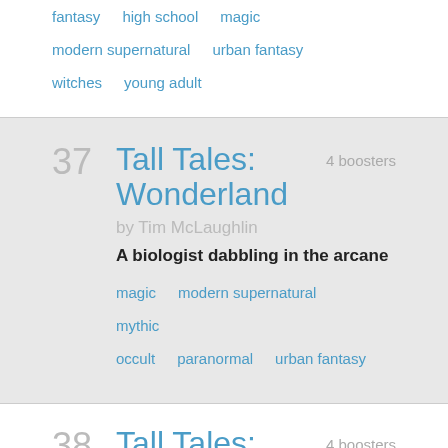fantasy   high school   magic
modern supernatural   urban fantasy
witches   young adult
37   Tall Tales: Wonderland   4 boosters
by Tim McLaughlin
A biologist dabbling in the arcane
magic   modern supernatural   mythic
occult   paranormal   urban fantasy
38   Tall Tales: Matteson,   4 boosters